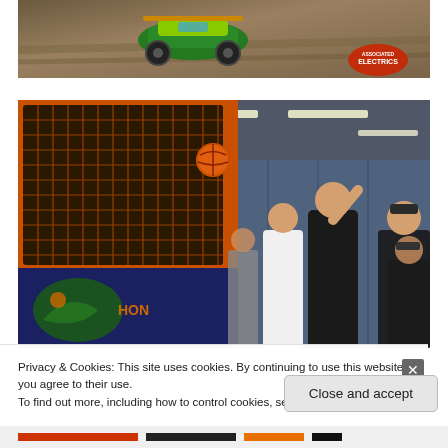[Figure (photo): RC car racing on dirt track with green/yellow buggy, watermark logo bottom right]
[Figure (photo): Indoor scene with orange arcade basketball shooting game machine, people playing in background, large indoor facility with fluorescent lights]
Privacy & Cookies: This site uses cookies. By continuing to use this website, you agree to their use.
To find out more, including how to control cookies, see here: Cookie Policy
Close and accept